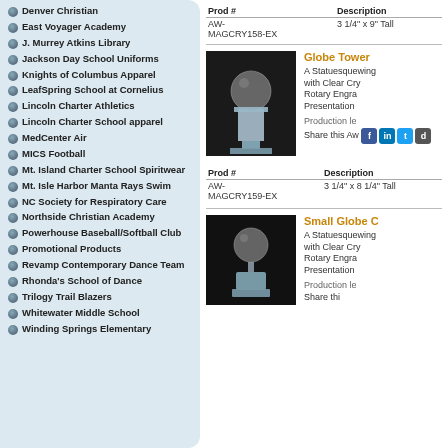Denver Christian
East Voyager Academy
J. Murrey Atkins Library
Jackson Day School Uniforms
Knights of Columbus Apparel
LeafSpring School at Cornelius
Lincoln Charter Athletics
Lincoln Charter School apparel
MedCenter Air
MICS Football
Mt. Island Charter School Spiritwear
Mt. Isle Harbor Manta Rays Swim
NC Society for Respiratory Care
Northside Christian Academy
Powerhouse Baseball/Softball Club
Promotional Products
Revamp Contemporary Dance Team
Rhonda's School of Dance
Trilogy Trail Blazers
Whitewater Middle School
Winding Springs Elementary
| Prod # | Description |
| --- | --- |
| AW-MAGCRY158-EX | 3 1/4" x 9" Tall |
Globe Tower
A Statuesquewing with Clear Cry Rotary Engra Presentation
Production le
Share this Aw
[Figure (photo): Crystal globe tower award trophy photo]
| Prod # | Description |
| --- | --- |
| AW-MAGCRY159-EX | 3 1/4" x 8 1/4" Tall |
Small Globe C
A Statuesquewing with Clear Cry Rotary Engra Presentation
Production le
[Figure (photo): Small crystal globe award trophy photo]